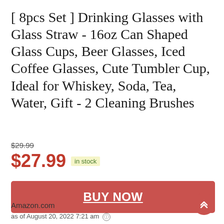[ 8pcs Set ] Drinking Glasses with Glass Straw - 16oz Can Shaped Glass Cups, Beer Glasses, Iced Coffee Glasses, Cute Tumbler Cup, Ideal for Whiskey, Soda, Tea, Water, Gift - 2 Cleaning Brushes
$29.99 (strikethrough)
$27.99 in stock
BUY NOW
Amazon.com
as of August 20, 2022 7:21 am ℹ